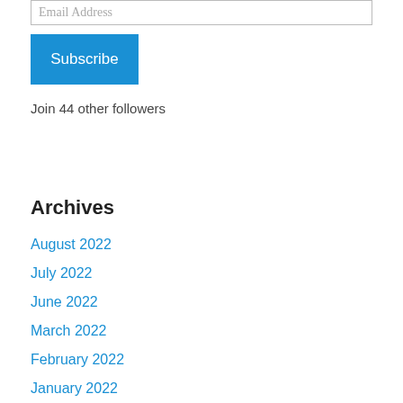Email Address
Subscribe
Join 44 other followers
Archives
August 2022
July 2022
June 2022
March 2022
February 2022
January 2022